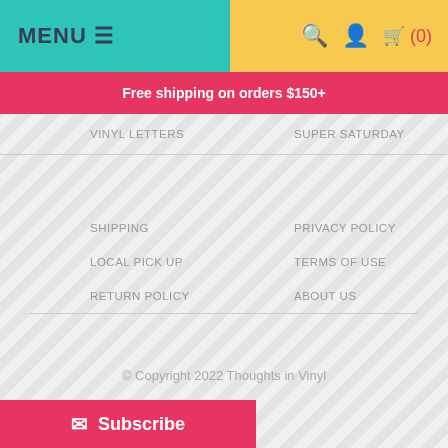MENU ☰
🔍 👤 🛒 (0)
Free shipping on orders $150+
VINYL LETTERS
SUPER SATURDAY
SHIPPING
PRIVACY POLICY
LOCAL PICK UP
TERMS OF USE
RETURN POLICY
ABOUT US
© Copyright 2022 Thoughts in Vinyl
Subscribe